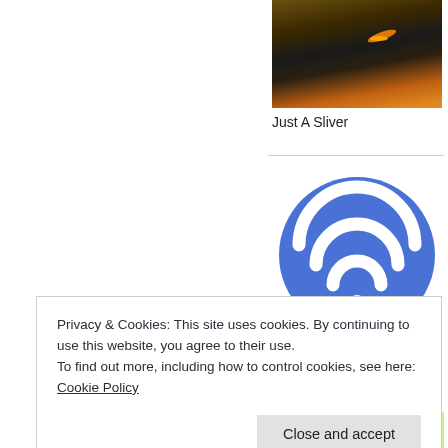[Figure (photo): Thumbnail photo of a dark sky with an orange/amber glow or light streak, partially cropped]
Just A Sliver
[Figure (illustration): Blue circle icon with white WiFi signal symbol]
Great Rescue and Commissioned Portrait: Augie,...
[Figure (photo): Green foliage strip, partially visible at bottom right]
Privacy & Cookies: This site uses cookies. By continuing to use this website, you agree to their use.
To find out more, including how to control cookies, see here: Cookie Policy
Close and accept